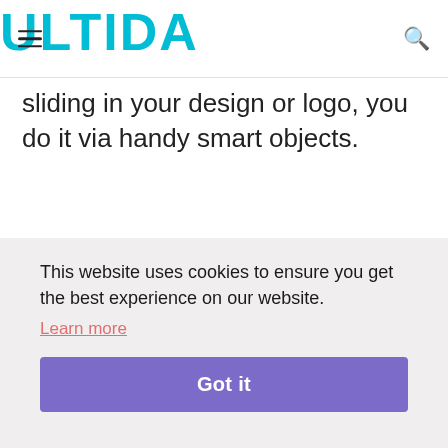ULTIDA
sliding in your design or logo, you do it via handy smart objects.
So. Pretty.
This website uses cookies to ensure you get the best experience on our website.
Learn more
Got it